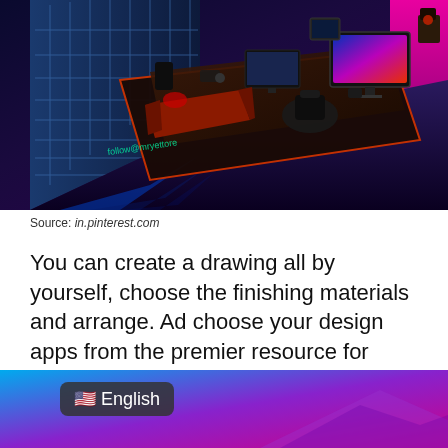[Figure (photo): Isometric 3D illustration of a gaming/tech room setup with desk, monitors, gaming chair, speakers, and neon lighting. Watermark text 'follow@mryettore' visible on the image.]
Source: in.pinterest.com
You can create a drawing all by yourself, choose the finishing materials and arrange. Ad choose your design apps from the premier resource for businesses!
[Figure (screenshot): Bottom portion of an image showing a blue-to-purple gradient background with a dark rounded rectangle badge showing a US flag emoji and the text 'English'.]